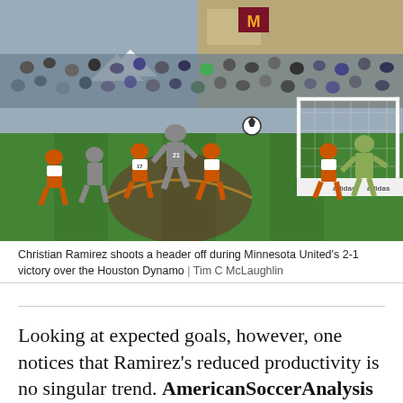[Figure (photo): Soccer match photo showing players competing near the goal. A player in a gray jersey (#21) heads the ball while players in orange jerseys defend. A goalkeeper in the background. Stadium crowd visible. Minnesota Gophers M logo on building in background. Adidas advertising boards visible.]
Christian Ramirez shoots a header off during Minnesota United's 2-1 victory over the Houston Dynamo | Tim C McLaughlin
Looking at expected goals, however, one notices that Ramirez's reduced productivity is no singular trend. AmericanSoccerAnalysis showed the team coming